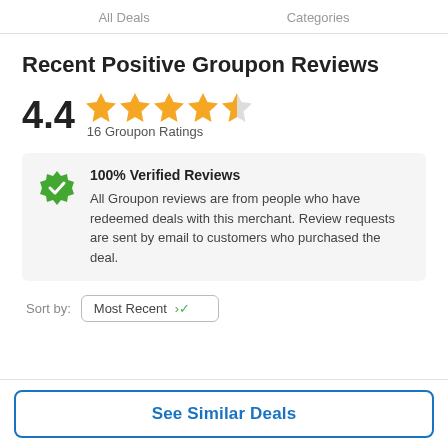All Deals   Categories
Recent Positive Groupon Reviews
4.4  ★★★★½  16 Groupon Ratings
100% Verified Reviews
All Groupon reviews are from people who have redeemed deals with this merchant. Review requests are sent by email to customers who purchased the deal.
Sort by: Most Recent
See Similar Deals